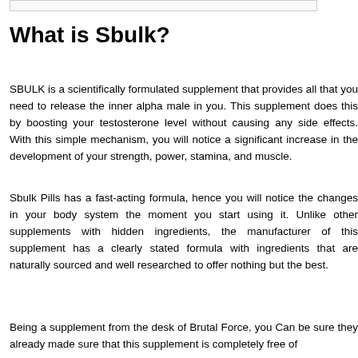[Figure (other): Top image placeholder box]
What is Sbulk?
SBULK is a scientifically formulated supplement that provides all that you need to release the inner alpha male in you. This supplement does this by boosting your testosterone level without causing any side effects. With this simple mechanism, you will notice a significant increase in the development of your strength, power, stamina, and muscle.
Sbulk Pills has a fast-acting formula, hence you will notice the changes in your body system the moment you start using it. Unlike other supplements with hidden ingredients, the manufacturer of this supplement has a clearly stated formula with ingredients that are naturally sourced and well researched to offer nothing but the best.
Being a supplement from the desk of Brutal Force, you Can be sure they already made sure that this supplement is completely free of